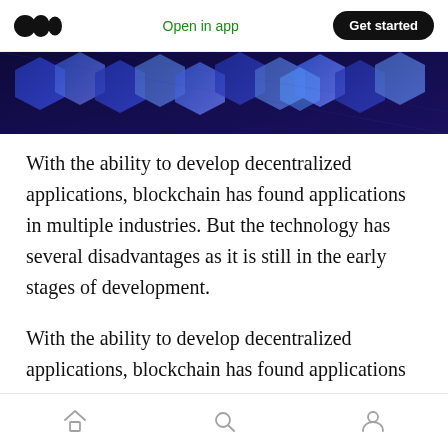Open in app  Get started
[Figure (photo): Dark blue hexagonal blockchain abstract background image]
With the ability to develop decentralized applications, blockchain has found applications in multiple industries. But the technology has several disadvantages as it is still in the early stages of development.
With the ability to develop decentralized applications, blockchain has found applications in multiple industries. But the technology has several disadvantages as it is still in the early
Home  Search  Profile